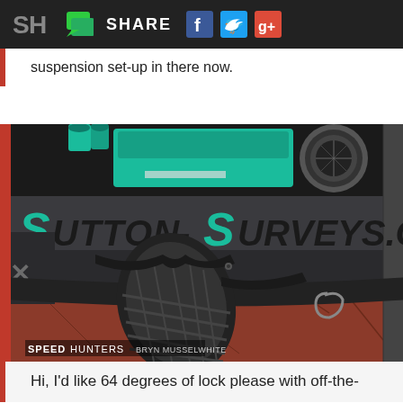SH [logo] [chat icon] SHARE [Facebook icon] [Twitter icon] [Google+ icon]
suspension set-up in there now.
[Figure (photo): Close-up photo of a racing/drift car's front end at extreme steering lock, showing the wheel turned sharply outward revealing the tire nearly perpendicular to the car body. The car has a grey/carbon fibre front bumper with 'Sutton-Surveys.com' written in teal/black stylized text. The engine bay is visible showing teal painted components. SPEEDHUNTERS BRYN MUSSELWHITE watermark in bottom left.]
Hi, I'd like 64 degrees of lock please with off-the-